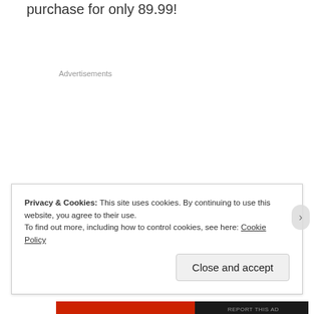purchase for only 89.99!
Advertisements
Privacy & Cookies: This site uses cookies. By continuing to use this website, you agree to their use.
To find out more, including how to control cookies, see here: Cookie Policy
Close and accept